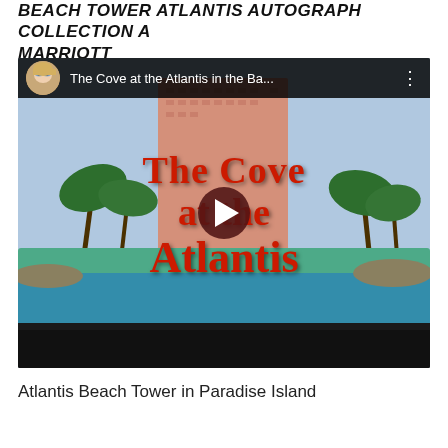BEACH TOWER ATLANTIS AUTOGRAPH COLLECTION A MARRIOTT
[Figure (screenshot): YouTube video thumbnail showing 'The Cove at the Atlantis in the Ba...' with a play button overlay. The thumbnail shows the Atlantis hotel tower, palm trees, and a pool with large red decorative text reading 'The Cove at the Atlantis'.]
Atlantis Beach Tower in Paradise Island